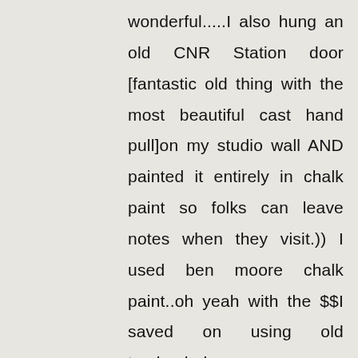wonderful.....I also hung an old CNR Station door [fantastic old thing with the most beautiful cast hand pull]on my studio wall AND painted it entirely in chalk paint so folks can leave notes when they visit.)) I used ben moore chalk paint..oh yeah with the $$I saved on using old track....haha